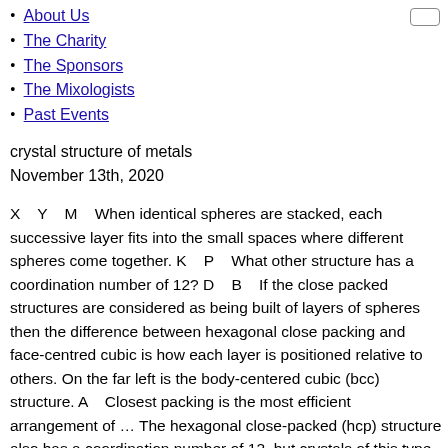About Us
The Charity
The Sponsors
The Mixologists
Past Events
crystal structure of metals
November 13th, 2020
X   Y   M   When identical spheres are stacked, each successive layer fits into the small spaces where different spheres come together. K   P   What other structure has a coordination number of 12? D   B   If the close packed structures are considered as being built of layers of spheres then the difference between hexagonal close packing and face-centred cubic is how each layer is positioned relative to others. On the far left is the body-centered cubic (bcc) structure. A   Closest packing is the most efficient arrangement of … The hexagonal close-packed (hcp) structure also has a coordination number of 12, but crystals of this type are hexagonally shaped rather than cubic. The coordination number of each atom in the body-centered cubic structure is 8. This orderly and regular arrangement of the metal balls minimizes the empty space between them. The hexagonal close-packed (hcp) structure also has a coordination number of 12, but crystals of this type are hexagonally shaped rather than cubic. I.   Both groups of atoms in